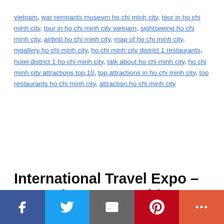vietnam, war remnants museum ho chi minh city, tour in ho chi minh city, tour in ho chi minh city vietnam, sightseeing ho chi minh city, airbnb ho chi minh city, map of ho chi minh city, mgallery ho chi minh city, ho chi minh city district 1 restaurants, hotel district 1 ho chi minh city, talk about ho chi minh city, ho chi minh city attractions top 10, top attractions in ho chi minh city, top restaurants ho chi minh city, attraction ho chi minh city
International Travel Expo – HCM City returns with various events
[Figure (infographic): Social sharing bar with Facebook, Twitter, Email, Pinterest, and More buttons]